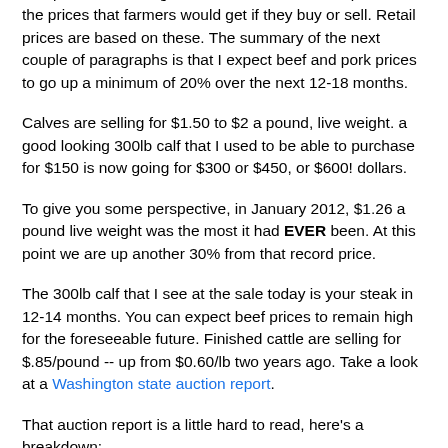The prices I'm talking about here are wholesale prices -- the prices that farmers would get if they buy or sell. Retail prices are based on these. The summary of the next couple of paragraphs is that I expect beef and pork prices to go up a minimum of 20% over the next 12-18 months.
Calves are selling for $1.50 to $2 a pound, live weight. a good looking 300lb calf that I used to be able to purchase for $150 is now going for $300 or $450, or $600! dollars.
To give you some perspective, in January 2012, $1.26 a pound live weight was the most it had EVER been. At this point we are up another 30% from that record price.
The 300lb calf that I see at the sale today is your steak in 12-14 months. You can expect beef prices to remain high for the foreseeable future. Finished cattle are selling for $.85/pound -- up from $0.60/lb two years ago. Take a look at a Washington state auction report.
That auction report is a little hard to read, here's a breakdown: